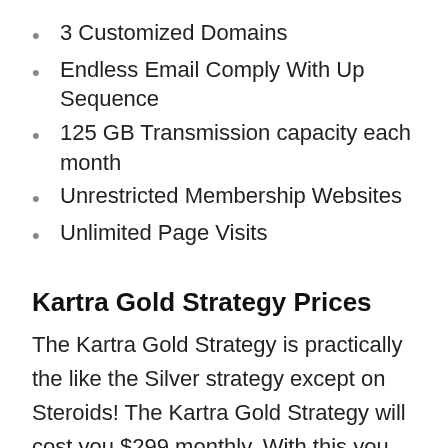3 Customized Domains
Endless Email Comply With Up Sequence
125 GB Transmission capacity each month
Unrestricted Membership Websites
Unlimited Page Visits
Kartra Gold Strategy Prices
The Kartra Gold Strategy is practically the like the Silver strategy except on Steroids! The Kartra Gold Strategy will cost you $299 monthly. With this you obtain: